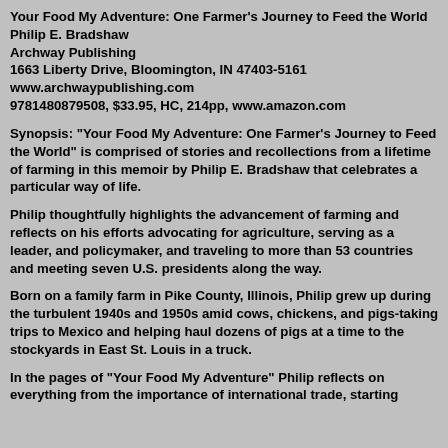Your Food My Adventure: One Farmer's Journey to Feed the World
Philip E. Bradshaw
Archway Publishing
1663 Liberty Drive, Bloomington, IN 47403-5161
www.archwaypublishing.com
9781480879508, $33.95, HC, 214pp, www.amazon.com
Synopsis: "Your Food My Adventure: One Farmer's Journey to Feed the World" is comprised of stories and recollections from a lifetime of farming in this memoir by Philip E. Bradshaw that celebrates a particular way of life.
Philip thoughtfully highlights the advancement of farming and reflects on his efforts advocating for agriculture, serving as a leader, and policymaker, and traveling to more than 53 countries and meeting seven U.S. presidents along the way.
Born on a family farm in Pike County, Illinois, Philip grew up during the turbulent 1940s and 1950s amid cows, chickens, and pigs-taking trips to Mexico and helping haul dozens of pigs at a time to the stockyards in East St. Louis in a truck.
In the pages of "Your Food My Adventure" Philip reflects on everything from the importance of international trade, starting